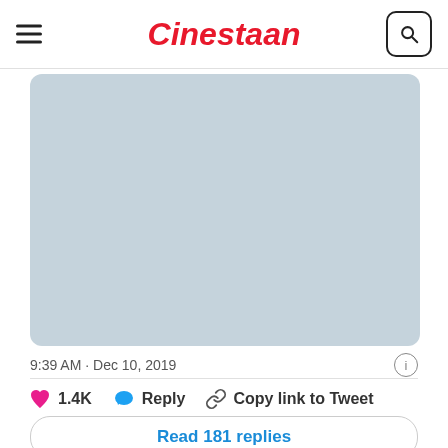Cinestaan
[Figure (photo): Light blue-grey placeholder image area for a tweet image, rounded corners]
9:39 AM · Dec 10, 2019
♥ 1.4K   Reply   Copy link to Tweet
Read 181 replies
Ei...